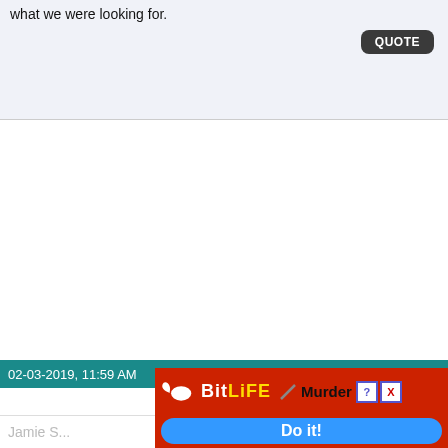what we were looking for.
QUOTE
02-03-2019, 11:59 AM
#29
Join Date: Sep 2014
Jamie S...
[Figure (screenshot): BitLife mobile advertisement with red background, sperm logo, yellow BitLife text, Murder label, question mark and X buttons, blue Do it! button]